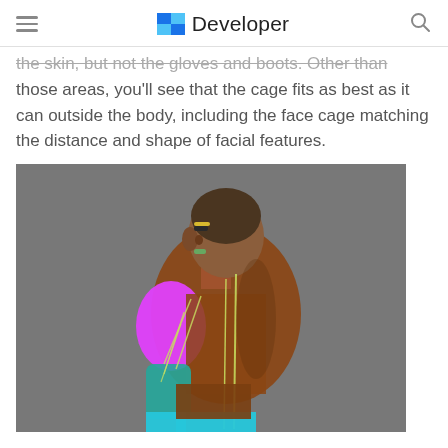Developer
the skin, but not the gloves and boots. Other than those areas, you'll see that the cage fits as best as it can outside the body, including the face cage matching the distance and shape of facial features.
[Figure (illustration): 3D side-view render of a human character model in a gray background, showing UV mapping regions highlighted in different colors: magenta/pink on the torso arm area, green on lower arm, orange/brown on the body, teal at the bottom. Yellow-green cage lines are visible along the spine and arm. The character has a brown skin tone and short dark hair, viewed from the side.]